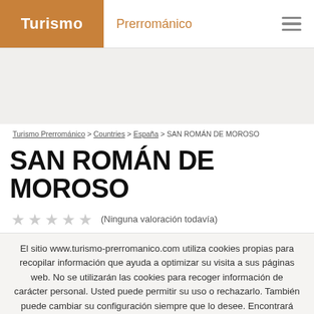Turismo Prerrománico
Turismo Prerrománico > Countries > España > SAN ROMÁN DE MOROSO
SAN ROMÁN DE MOROSO
(Ninguna valoración todavía)
El sitio www.turismo-prerromanico.com utiliza cookies propias para recopilar información que ayuda a optimizar su visita a sus páginas web. No se utilizarán las cookies para recoger información de carácter personal. Usted puede permitir su uso o rechazarlo. También puede cambiar su configuración siempre que lo desee. Encontrará más información en nuestra Política de